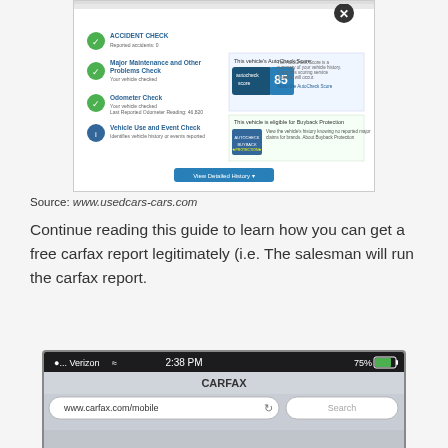[Figure (screenshot): AutoCheck vehicle history report screenshot showing Accident Check and other checks with scores and badges]
Source: www.usedcars-cars.com
Continue reading this guide to learn how you can get a free carfax report legitimately (i.e. The salesman will run the carfax report.
[Figure (screenshot): iPhone screenshot showing Carfax mobile website at www.carfax.com/mobile with Verizon carrier, 2:38 PM, 75% battery]